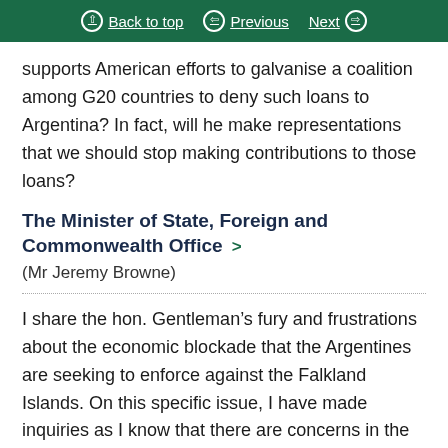Back to top  Previous  Next
supports American efforts to galvanise a coalition among G20 countries to deny such loans to Argentina? In fact, will he make representations that we should stop making contributions to those loans?
The Minister of State, Foreign and Commonwealth Office (Mr Jeremy Browne)
I share the hon. Gentleman's fury and frustrations about the economic blockade that the Argentines are seeking to enforce against the Falkland Islands. On this specific issue, I have made inquiries as I know that there are concerns in the House and I have been told that no UK taxpayers' money is spent